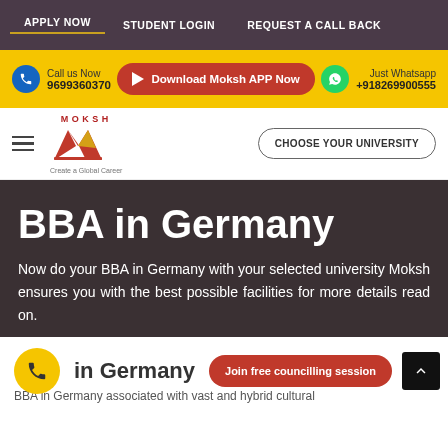APPLY NOW | STUDENT LOGIN | REQUEST A CALL BACK
Call us Now 9699360370 | Download Moksh APP Now | Just Whatsapp +918269900555
[Figure (logo): MOKSH logo with red M and yellow accent, tagline: Create a Global Career]
CHOOSE YOUR UNIVERSITY
BBA in Germany
Now do your BBA in Germany with your selected university Moksh ensures you with the best possible facilities for more details read on.
in Germany
Join free councilling session
BBA in Germany associated with vast and hybrid cultural